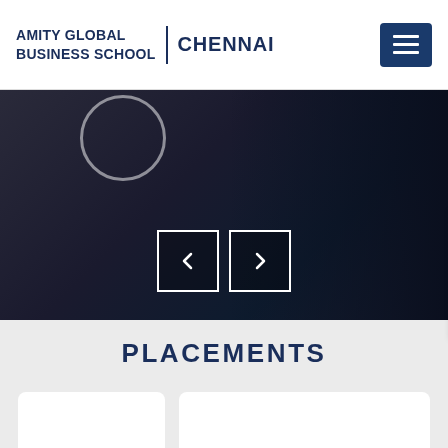[Figure (logo): Amity Global Business School Chennai logo with navigation hamburger menu]
[Figure (photo): Dark hero image with slider navigation arrows (previous and next) at bottom center]
PLACEMENTS
[Figure (other): Two white placement card panels on gray background]
Schedule A Visit